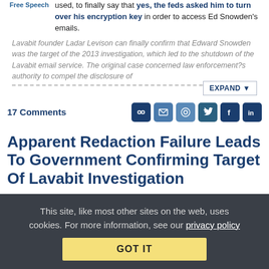Free Speech — used, to finally say that yes, the feds asked him to turn over his encryption key in order to access Ed Snowden's emails.
Lavabit founder Ladar Levison can finally confirm that Edward Snowden was the target of the 2013 investigation, which led to the shutdown of the Lavabit email service. The original case concerned law enforcement?s authority to compel the disclosure of
17 Comments
Apparent Redaction Failure Leads To Government Confirming Target Of Lavabit Investigation
This site, like most other sites on the web, uses cookies. For more information, see our privacy policy
GOT IT